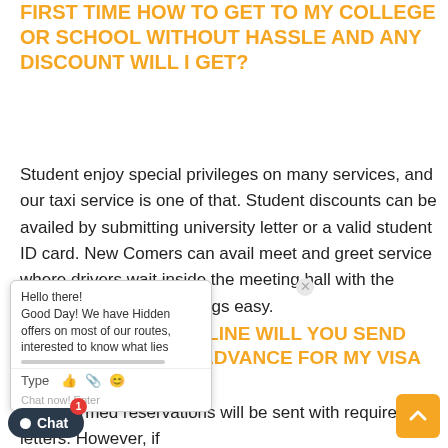FIRST TIME HOW TO GET TO MY COLLEGE OR SCHOOL WITHOUT HASSLE AND ANY DISCOUNT WILL I GET?
Student enjoy special privileges on many services, and our taxi service is one of that. Student discounts can be availed by submitting university letter or a valid student ID card. New Comers can avail meet and greet service where drivers wait inside the meeting hall with the board. This will make things easy.
OOK ONLINE WILL YOU SEND OOF IN ADVANCE FOR MY VISA CATION?
All confirmed reservations will be sent with required letters. However, if